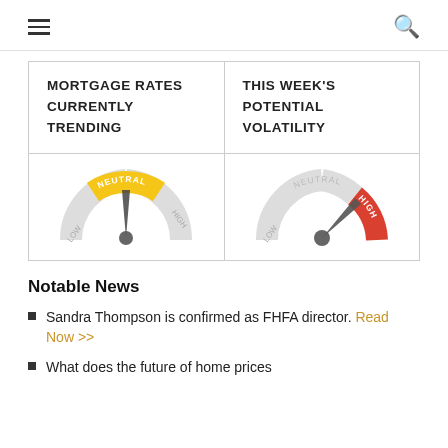Navigation header with hamburger menu and search icon
| MORTGAGE RATES CURRENTLY TRENDING | THIS WEEK'S POTENTIAL VOLATILITY |
| --- | --- |
| [gauge: NEUTRAL] | [gauge: HIGH] |
Notable News
Sandra Thompson is confirmed as FHFA director. Read Now >>
What does the future of home prices